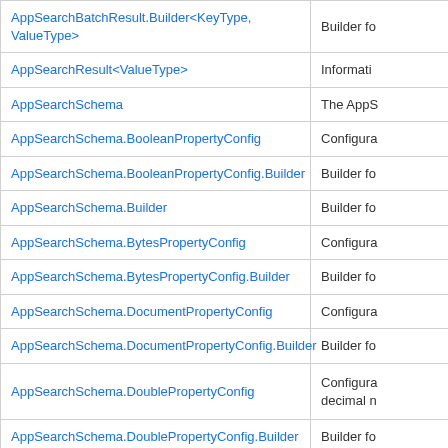| Class | Description |
| --- | --- |
| AppSearchBatchResult.Builder<KeyType, ValueType> | Builder fo |
| AppSearchResult<ValueType> | Informati |
| AppSearchSchema | The AppS |
| AppSearchSchema.BooleanPropertyConfig | Configura |
| AppSearchSchema.BooleanPropertyConfig.Builder | Builder fo |
| AppSearchSchema.Builder | Builder fo |
| AppSearchSchema.BytesPropertyConfig | Configura |
| AppSearchSchema.BytesPropertyConfig.Builder | Builder fo |
| AppSearchSchema.DocumentPropertyConfig | Configura |
| AppSearchSchema.DocumentPropertyConfig.Builder | Builder fo |
| AppSearchSchema.DoublePropertyConfig | Configura decimal n |
| AppSearchSchema.DoublePropertyConfig.Builder | Builder fo |
| AppSearchSchema.LongPropertyConfig | Configura |
| AppSearchSchema.LongPropertyConfig.Builder | Builder fo |
| AppSearchSchema.PropertyConfig | Common |